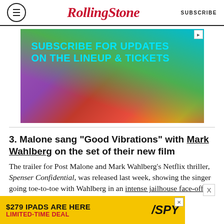Rolling Stone | SUBSCRIBE
[Figure (infographic): Colorful advertisement banner with purple, red, and teal gradient background. Text reads: SUBSCRIBE FOR UPDATES ON THE LINEUP & TICKETS]
3. Malone sang “Good Vibrations” with Mark Wahlberg on the set of their new film
The trailer for Post Malone and Mark Wahlberg’s Netflix thriller, Spenser Confidential, was released last week, showing the singer going toe-to-toe with Wahlberg in an intense jailhouse face-off. But on-set, the vibe was decidedly more upbeat. “The
[Figure (infographic): Yellow advertisement banner: $279 IPADS ARE HERE LIMITED-TIME DEAL with SPY logo]